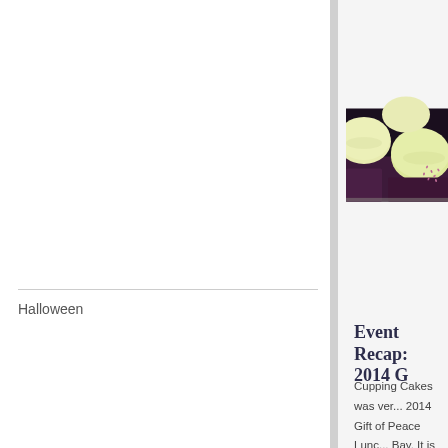Halloween
[Figure (photo): Close-up photo of cupcakes with white/cream frosting and purple decorative sprinkles, dark chocolate bases with purple cupcake liners]
Event Recap: 2014 G...
Cupping Cakes was ver... 2014 Gift of Peace Lunc... Bay. It is their largest fu... than 400 people in atten... opportunity to come up w... and full size cupcakes fo... thank you for their amaz... cause. [...]